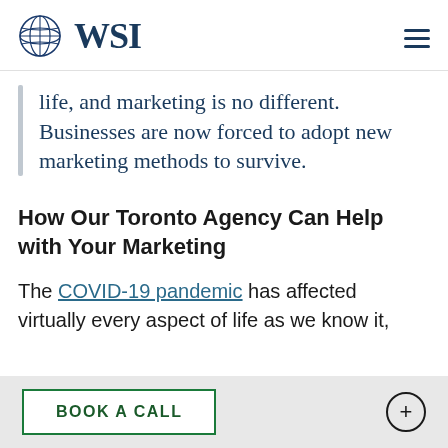WSI
life, and marketing is no different. Businesses are now forced to adopt new marketing methods to survive.
How Our Toronto Agency Can Help with Your Marketing
The COVID-19 pandemic has affected virtually every aspect of life as we know it,
BOOK A CALL